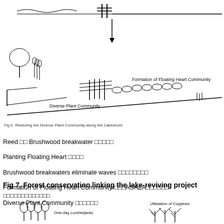[Figure (illustration): Top diagram showing brushwood breakwaters eliminating waves and the formation of floating heart community along the lakeshore, with diverse plant community label. An arrow points downward to the restored lakeshore scene.]
Fig 6. Restoring the Diverse Plant Community along the Lakeshore
Reed □□ Brushwood breakwater □□□□□
Planting Floating Heart □□□□
Brushwood breakwaters eliminate waves □□□□□□□□
Formation of Floating Heart Community □□□ASAZA□□□□□□
Diverse Plant Community □□□□□□
Fig 7. Forest conservation linking the lake-reviving project
□□□□□□□□□□□□□
[Figure (illustration): Bottom diagram showing forest conservation figures: One-day Lumberjacks on the left and Utilization of Coppices on the right with tree illustrations.]